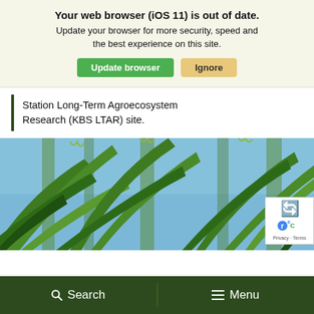Your web browser (iOS 11) is out of date. Update your browser for more security, speed and the best experience on this site. [Update browser] [Ignore]
Station Long-Term Agroecosystem Research (KBS LTAR) site.
[Figure (photo): Close-up photo looking upward through tall green corn (maize) stalks and leaves against a blue sky background.]
Search   Menu